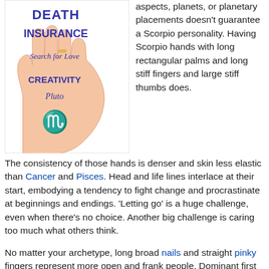[Figure (illustration): A hand illustration with text written on it including 'DEATH INSURANCE', 'Search for Love', 'CREATIVITY', 'Pluto', and the Scorpio astrological symbol.]
aspects, planets, or planetary placements doesn't guarantee a Scorpio personality. Having Scorpio hands with long rectangular palms and long stiff fingers and large stiff thumbs does.
The consistency of those hands is denser and skin less elastic than Cancer and Pisces. Head and life lines interlace at their start, embodying a tendency to fight change and procrastinate at beginnings and endings. ‘Letting go’ is a huge challenge, even when there’s no choice. Another big challenge is caring too much what others think.
No matter your archetype, long broad nails and straight pinky fingers represent more open and frank people. Dominant first and third phalanges on rounded